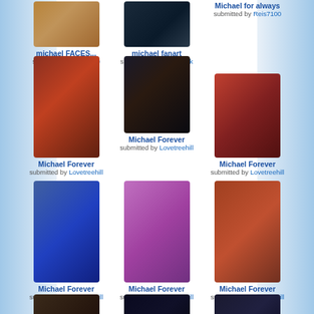[Figure (photo): Photo of Michael Jackson - michael FACES...]
michael FACES...
submitted by Reis7100
[Figure (photo): Photo of Michael Jackson - michael fanart]
michael fanart
submitted by Rose_Jack
Michael for always
submitted by Reis7100
[Figure (photo): Photo of Michael Jackson - Michael Forever (dancing)]
Michael Forever
submitted by Lovetreehill
[Figure (photo): Photo of Michael Jackson - Michael Forever (singing with mic)]
Michael Forever
submitted by Lovetreehill
[Figure (photo): Photo of Michael Jackson - Michael Forever (red outfit)]
Michael Forever
submitted by Lovetreehill
[Figure (photo): Photo of Michael Jackson - Michael Forever (blue)]
Michael Forever
submitted by Lovetreehill
[Figure (photo): Photo of Michael Jackson - Michael Forever (Lovely eyes)]
Michael Forever
submitted by Lovetreehill
[Figure (photo): Photo of Michael Jackson - Michael Forever (orange outfit)]
Michael Forever
submitted by Lovetreehill
[Figure (photo): Partial photo bottom row left]
[Figure (photo): Partial photo bottom row center]
[Figure (photo): Partial photo bottom row right]